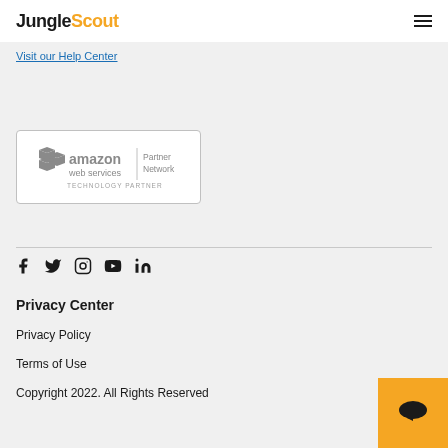JungleScout
Visit our Help Center
[Figure (logo): Amazon Web Services Partner Network - Technology Partner badge with border]
[Figure (infographic): Social media icons: Facebook, Twitter, Instagram, YouTube, LinkedIn]
Privacy Center
Privacy Policy
Terms of Use
Copyright 2022. All Rights Reserved